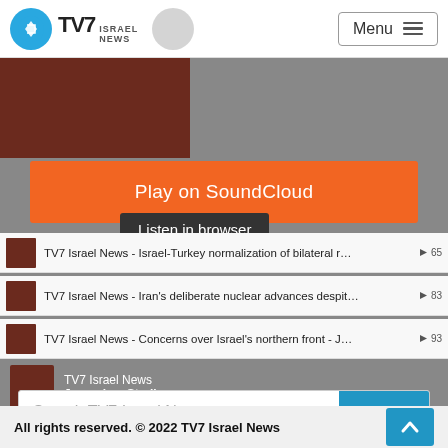TV7 Israel News — Menu
[Figure (screenshot): SoundCloud embedded widget showing podcast episodes from TV7 Israel News Jerusalem Studio. Contains orange 'Play on SoundCloud' button, 'Listen in browser' tooltip, and list of episodes: 'Israel-Turkey normalization of bilateral r...' (65 plays), 'Iran's deliberate nuclear advances despit...' (83 plays), 'Concerns over Israel's northern front - J...' (93 plays). Bottom bar shows TV7 Israel News / Jerusalem Studio branding. Privacy policy link visible.]
Play on SoundCloud
Listen in browser
TV7 Israel News - Israel-Turkey normalization of bilateral r… ▶ 65
TV7 Israel News - Iran's deliberate nuclear advances despit… ▶ 83
TV7 Israel News - Concerns over Israel's northern front - J… ▶ 93
TV7 Israel News
Jerusalem Studio
Privacy policy
Search TV7 Israel News
All rights reserved. © 2022 TV7 Israel News